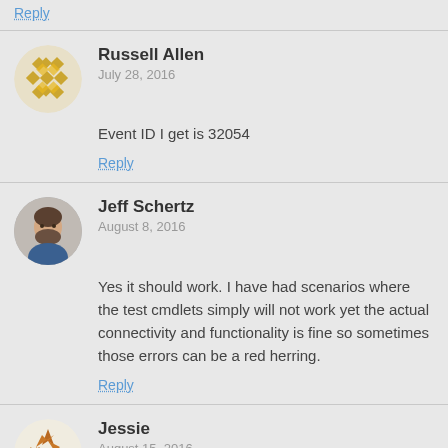Reply
Russell Allen
July 28, 2016
Event ID I get is 32054
Reply
Jeff Schertz
August 8, 2016
Yes it should work. I have had scenarios where the test cmdlets simply will not work yet the actual connectivity and functionality is fine so sometimes those errors can be a red herring.
Reply
Jessie
August 15, 2016